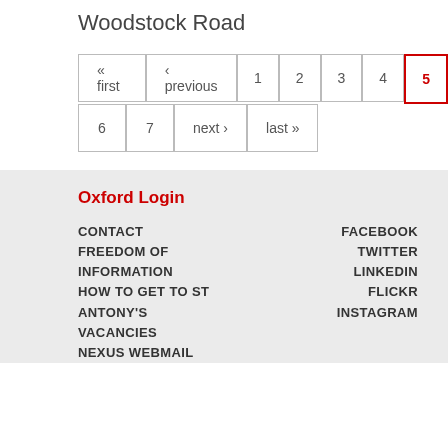Woodstock Road
« first ‹ previous 1 2 3 4 5 (current) 6 7 next › last »
Oxford Login
CONTACT
FREEDOM OF INFORMATION
HOW TO GET TO ST ANTONY'S
VACANCIES
NEXUS WEBMAIL
FACEBOOK
TWITTER
LINKEDIN
FLICKR
INSTAGRAM